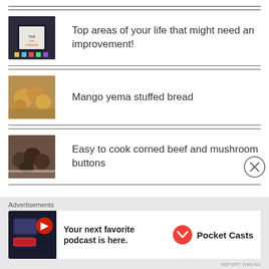Top areas of your life that might need an improvement!
Mango yema stuffed bread
Easy to cook corned beef and mushroom buttons
Advertisements
[Figure (infographic): Pocket Casts advertisement: Your next favorite podcast is here.]